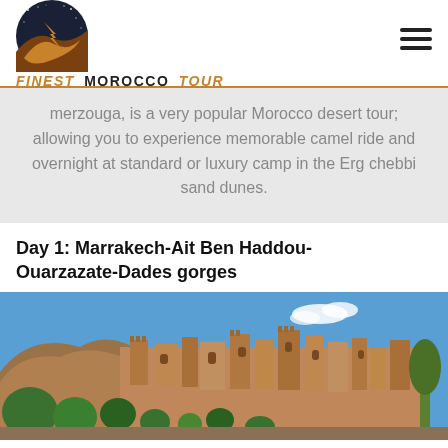[Figure (logo): Finest Morocco Tour logo with circular desert night sky icon and orange/brown sand dune design]
merzouga, is a very popular Morocco desert tour; allowing you to experience memorable camel ride and overnight at standard or luxury camp in the Erg chebbi sand dunes.
Day 1: Marrakech-Ait Ben Haddou-Ouarzazate-Dades gorges
[Figure (photo): Photo of ancient Ait Ben Haddou kasbah fortress with terracotta mud-brick towers against a clear blue sky, surrounded by green palm trees]